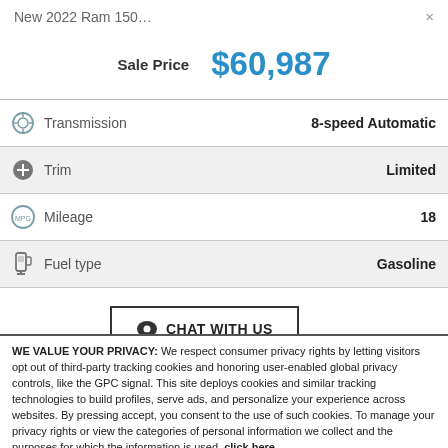New 2022 Ram 1500
Sale Price  $60,987
| Feature | Value |
| --- | --- |
| Transmission | 8-speed Automatic |
| Trim | Limited |
| Mileage | 18 |
| Fuel type | Gasoline |
CHAT WITH US
WE VALUE YOUR PRIVACY: We respect consumer privacy rights by letting visitors opt out of third-party tracking cookies and honoring user-enabled global privacy controls, like the GPC signal. This site deploys cookies and similar tracking technologies to build profiles, serve ads, and personalize your experience across websites. By pressing accept, you consent to the use of such cookies. To manage your privacy rights or view the categories of personal information we collect and the purposes for which the information is used, click here.
Language: English
Powered by ComplyAuto
Accept and Continue →  Privacy Policy  ×